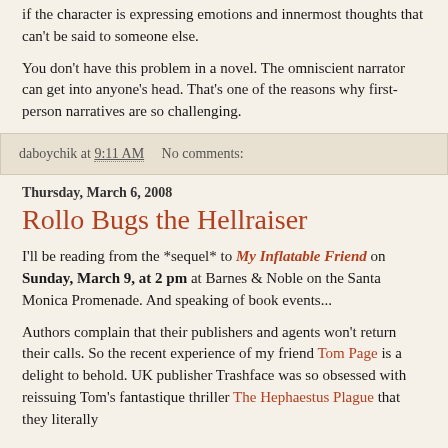if the character is expressing emotions and innermost thoughts that can't be said to someone else.
You don't have this problem in a novel. The omniscient narrator can get into anyone's head. That's one of the reasons why first-person narratives are so challenging.
daboychik at 9:11 AM    No comments:
Thursday, March 6, 2008
Rollo Bugs the Hellraiser
I'll be reading from the *sequel* to My Inflatable Friend on Sunday, March 9, at 2 pm at Barnes & Noble on the Santa Monica Promenade. And speaking of book events...
Authors complain that their publishers and agents won't return their calls. So the recent experience of my friend Tom Page is a delight to behold. UK publisher Trashface was so obsessed with reissuing Tom's fantastique thriller The Hephaestus Plague that they literally tracked him down. As a matter they called to chat his gig...